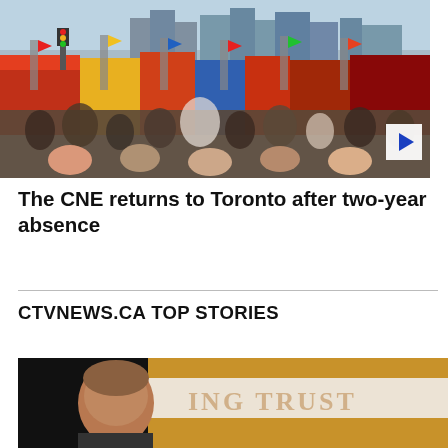[Figure (photo): Crowded midway at the CNE (Canadian National Exhibition) in Toronto, with colourful fair stalls, banners, food stands, crowds of people, and downtown Toronto skyscrapers visible in the background. A blue play button overlay appears at bottom right of the image.]
The CNE returns to Toronto after two-year absence
CTVNEWS.CA TOP STORIES
[Figure (photo): A man in a suit standing in front of a yellow sign that reads 'ING TRUST' (partially visible).]